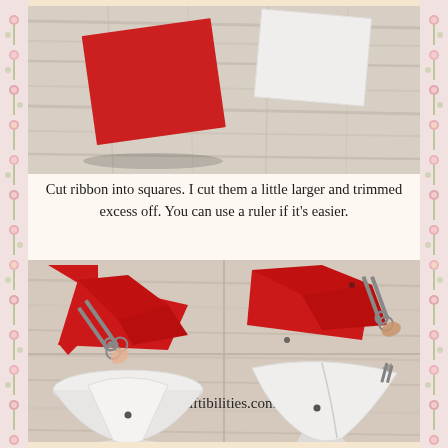[Figure (photo): Top photo showing red and white ribbon squares cut and laid on a white wooden surface]
Cut ribbon into squares. I cut them a little larger and trimmed excess off. You can use a ruler if it's easier.
[Figure (photo): Four-panel photo grid showing steps of folding and trimming red and white ribbon squares with scissors, plus finished cone shapes. Watermark reads Craftibilities.com]